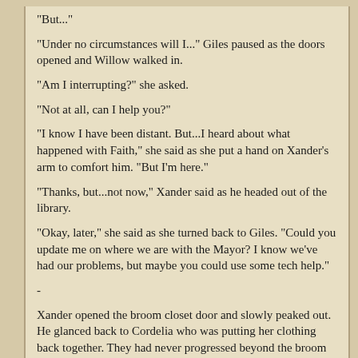"But..."
"Under no circumstances will I..." Giles paused as the doors opened and Willow walked in.
"Am I interrupting?" she asked.
"Not at all, can I help you?"
"I know I have been distant. But...I heard about what happened with Faith," she said as she put a hand on Xander's arm to comfort him. "But I'm here."
"Thanks, but...not now," Xander said as he headed out of the library.
"Okay, later," she said as she turned back to Giles. "Could you update me on where we are with the Mayor? I know we've had our problems, but maybe you could use some tech help."
-
Xander opened the broom closet door and slowly peaked out. He glanced back to Cordelia who was putting her clothing back together. They had never progressed beyond the broom closet stage. Cordelia certainly wasn't going to make things official and